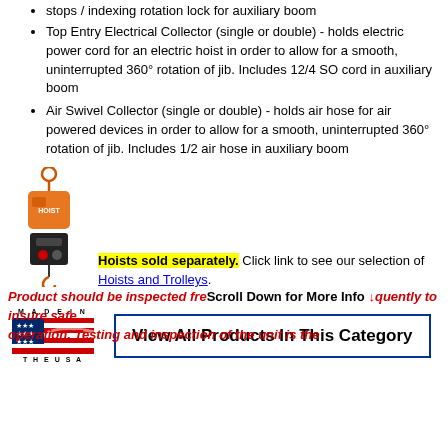stops / indexing rotation lock for auxiliary boom
Top Entry Electrical Collector (single or double) - holds electric power cord for an electric hoist in order to allow for a smooth, uninterrupted 360° rotation of jib. Includes 12/4 SO cord in auxiliary boom
Air Swivel Collector (single or double) - holds air hose for air powered devices in order to allow for a smooth, uninterrupted 360° rotation of jib. Includes 1/2 air hose in auxiliary boom
[Figure (photo): Orange and black electric chain hoist with pendant control]
Hoists sold separately. Click link to see our selection of Hoists and Trolleys.
[Figure (logo): Made in the USA logo with American flag design]
View All Products In This Category
Product should be inspected frequently to insure safe operation. Testing and inspection of the unit is the
Scroll Down for More Info